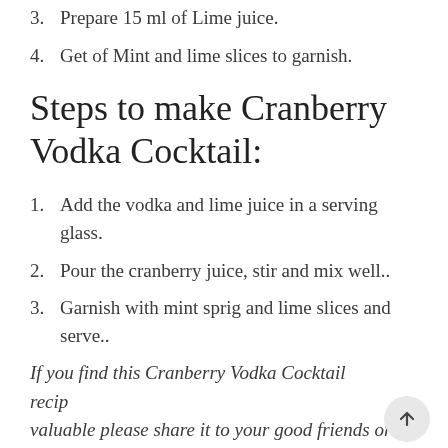3. Prepare 15 ml of Lime juice.
4. Get of Mint and lime slices to garnish.
Steps to make Cranberry Vodka Cocktail:
1. Add the vodka and lime juice in a serving glass.
2. Pour the cranberry juice, stir and mix well..
3. Garnish with mint sprig and lime slices and serve..
If you find this Cranberry Vodka Cocktail recip valuable please share it to your good friends or